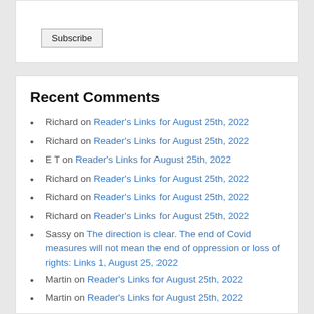Subscribe
Recent Comments
Richard on Reader's Links for August 25th, 2022
Richard on Reader's Links for August 25th, 2022
E T on Reader's Links for August 25th, 2022
Richard on Reader's Links for August 25th, 2022
Richard on Reader's Links for August 25th, 2022
Richard on Reader's Links for August 25th, 2022
Sassy on The direction is clear. The end of Covid measures will not mean the end of oppression or loss of rights: Links 1, August 25, 2022
Martin on Reader's Links for August 25th, 2022
Martin on Reader's Links for August 25th, 2022
Martin on Reader's Links for August 25th, 2022
Sassy on The direction is clear. The end of Covid measures